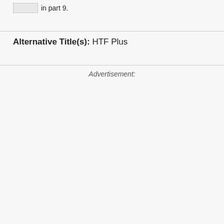[box] in part 9.
Alternative Title(s): HTF Plus
Advertisement: